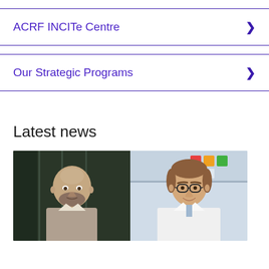ACRF INCITe Centre
Our Strategic Programs
Latest news
[Figure (photo): Two photos side by side: left shows a bald man with a beard in a dark setting; right shows a man with glasses and brown hair in a white lab coat in a laboratory setting.]